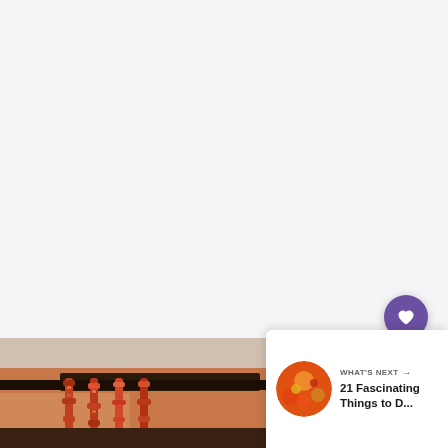[Figure (screenshot): White/light gray background area taking up the upper portion of a webpage screenshot]
[Figure (photo): Bottom-left photo showing decorated hanging ornaments or lights in front of a building with terracotta/orange walls, resembling a market or cultural venue]
[Figure (screenshot): UI element: circular purple heart/favorite button on the right side]
[Figure (screenshot): UI element: circular white share button with a share icon on the right side]
[Figure (screenshot): What's Next card in bottom-right corner with thumbnail showing colorful food/rangoli image and headline text '21 Fascinating Things to D...']
[Figure (photo): Small preview image in bottom-right corner showing blue sky and white structures]